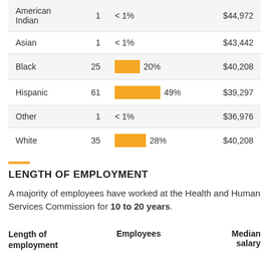| Race/Ethnicity | Employees | Percentage | Median salary |
| --- | --- | --- | --- |
| American Indian | 1 | < 1% | $44,972 |
| Asian | 1 | < 1% | $43,442 |
| Black | 25 | 20% | $40,208 |
| Hispanic | 61 | 49% | $39,297 |
| Other | 1 | < 1% | $36,976 |
| White | 35 | 28% | $40,208 |
LENGTH OF EMPLOYMENT
A majority of employees have worked at the Health and Human Services Commission for 10 to 20 years.
| Length of employment | Employees | Median salary |
| --- | --- | --- |